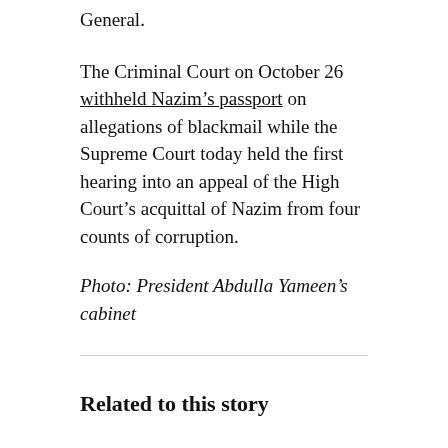General.
The Criminal Court on October 26 withheld Nazim’s passport on allegations of blackmail while the Supreme Court today held the first hearing into an appeal of the High Court’s acquittal of Nazim from four counts of corruption.
Photo: President Abdulla Yameen’s cabinet
Related to this story
Court overrules government on lagoon development joint venture
Singaporean company sues three government ministries over lagoon lease